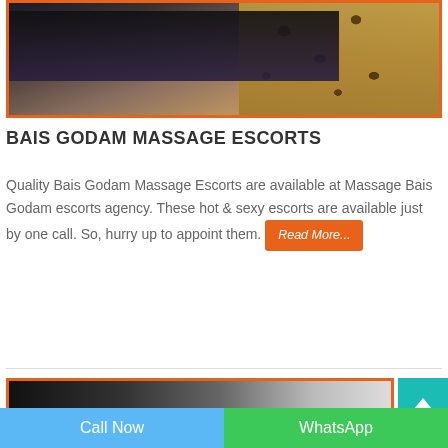[Figure (photo): Photo of a woman wearing a black top and leopard print skirt, cropped to show torso/waist area, with orange border frame]
BAIS GODAM MASSAGE ESCORTS
Quality Bais Godam Massage Escorts are available at Massage Bais Godam escorts agency. These hot & sexy escorts are available just by one call. So, hurry up to appoint them. Read More...
[Figure (photo): Partial photo visible at bottom of page with orange border]
Call Now   WhatsApp